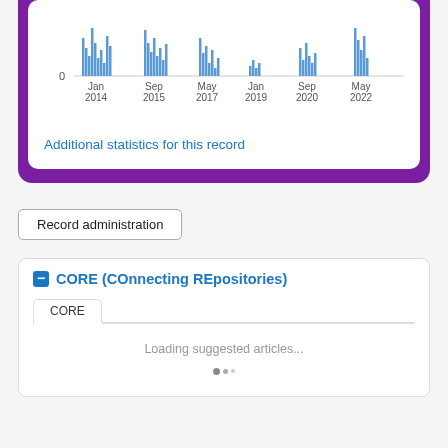[Figure (bar-chart): Bar chart showing download activity from Jan 2014 to May 2022, with bars of varying heights clustered around 0 baseline]
Additional statistics for this record
Record administration
CORE (COnnecting REpositories)
Loading suggested articles...